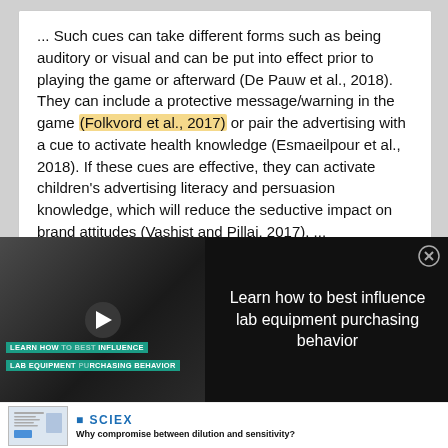... Such cues can take different forms such as being auditory or visual and can be put into effect prior to playing the game or afterward (De Pauw et al., 2018). They can include a protective message/warning in the game (Folkvord et al., 2017) or pair the advertising with a cue to activate health knowledge (Esmaeilpour et al., 2018). If these cues are effective, they can activate children's advertising literacy and persuasion knowledge, which will reduce the seductive impact on brand attitudes (Vashist and Pillai, 2017). ...
[Figure (screenshot): Video advertisement thumbnail showing lab equipment with overlay text 'LEARN HOW TO BEST INFLUENCE LAB EQUIPMENT PURCHASING BEHAVIOR' in teal/green banners, with a play button in the center]
Learn how to best influence lab equipment purchasing behavior
[Figure (screenshot): SCIEX advertisement with small document thumbnail on left and SCIEX logo in blue]
Why compromise between dilution and sensitivity?